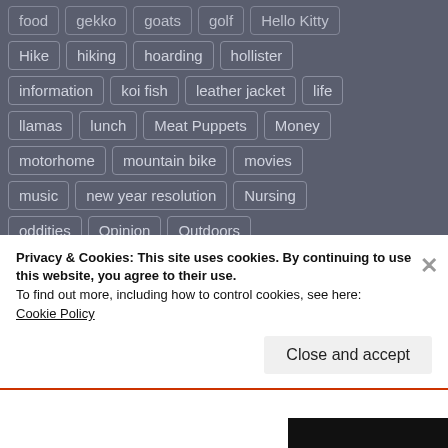food  gekko  goats  golf  Hello Kitty
Hike  hiking  hoarding  hollister
information  koi fish  leather jacket  life
llamas  lunch  Meat Puppets  Money
motorhome  mountain bike  movies
music  new year resolution  Nursing
oddities  Opinion  Outdoors
panhandler  Photos  Politics
Privacy & Cookies: This site uses cookies. By continuing to use this website, you agree to their use.
To find out more, including how to control cookies, see here:
Cookie Policy
Close and accept